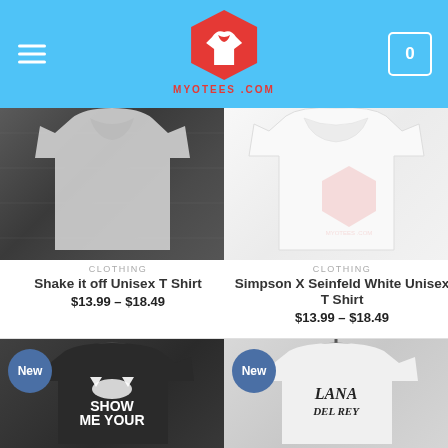MYOTEES.COM - Navigation header with logo, menu, and cart
[Figure (photo): Shake it off Unisex T Shirt product photo - white/grey tshirt on dark wooden background]
CLOTHING
Shake it off Unisex T Shirt
$13.99 – $18.49
[Figure (photo): Simpson X Seinfeld White Unisex T Shirt product photo - white tshirt on light background with watermark logo]
CLOTHING
Simpson X Seinfeld White Unisex T Shirt
$13.99 – $18.49
[Figure (photo): Show Me Your - dark tshirt on hanger with cat graphic and SHOW ME YOUR text, New badge]
[Figure (photo): Lana Del Rey unisex white tshirt on hanger with Lana Del Rey stylized text, New badge]